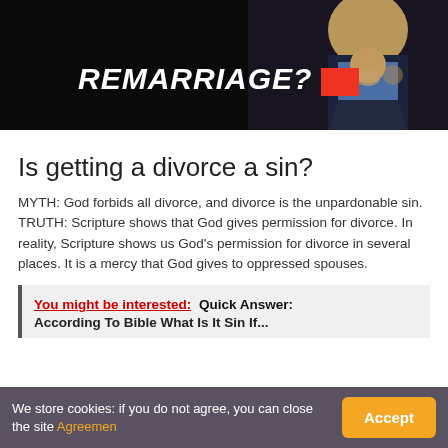[Figure (photo): Dark background image showing a person in a suit with text 'REMARRIAGE?' in white italic bold uppercase, and a red rectangular bar overlay. A person's face and hands are partially visible on the right side.]
Is getting a divorce a sin?
MYTH: God forbids all divorce, and divorce is the unpardonable sin. TRUTH: Scripture shows that God gives permission for divorce. In reality, Scripture shows us God's permission for divorce in several places. It is a mercy that God gives to oppressed spouses.
You might be interested:  Quick Answer: According To Bible What Is It Sin If...
We store cookies: if you do not agree, you can close the site Agreemen  Accept